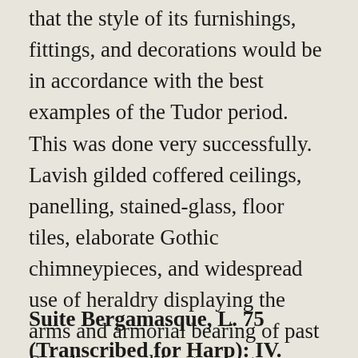that the style of its furnishings, fittings, and decorations would be in accordance with the best examples of the Tudor period. This was done very successfully. Lavish gilded coffered ceilings, panelling, stained-glass, floor tiles, elaborate Gothic chimneypieces, and widespread use of heraldry displaying the arms and armorial bearing of past Speakers combine to create a romantic evocation of the glories of the Speaker's office.
Suite Bergamasque, L. 75 (Transcribed for Harp): IV. Passepied by Claude Debussy, transcribed by Henriette Mèi...